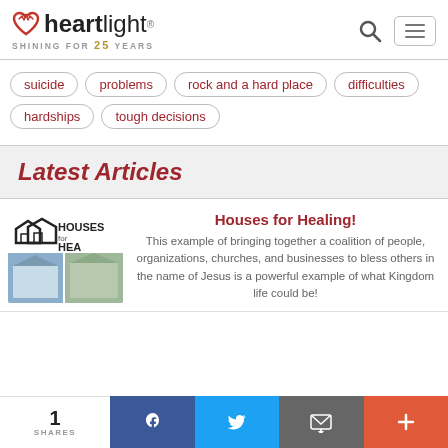heartlight® SHINING FOR 25 YEARS
suicide
problems
rock and a hard place
difficulties
hardships
tough decisions
Latest Articles
Houses for Healing!
This example of bringing together a coalition of people, organizations, churches, and businesses to bless others in the name of Jesus is a powerful example of what Kingdom life could be!
1 SHARES | Facebook | Twitter | Email | More